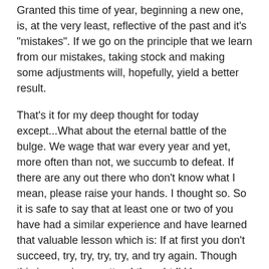Granted this time of year, beginning a new one, is, at the very least, reflective of the past and it's "mistakes". If we go on the principle that we learn from our mistakes, taking stock and making some adjustments will, hopefully, yield a better result.
That's it for my deep thought for today except...What about the eternal battle of the bulge. We wage that war every year and yet, more often than not, we succumb to defeat. If there are any out there who don't know what I mean, please raise your hands. I thought so. So it is safe to say that at least one or two of you have had a similar experience and have learned that valuable lesson which is: If at first you don't succeed, try, try, try, try, and try again. Though this is a serious matter, I thought I'd have some fun and pump out this little ditty. It isn't so humorous as it is, well, what we have to be reminded of every new year.
A CHANGE FOR ALL OF YOU
By Patty Severin